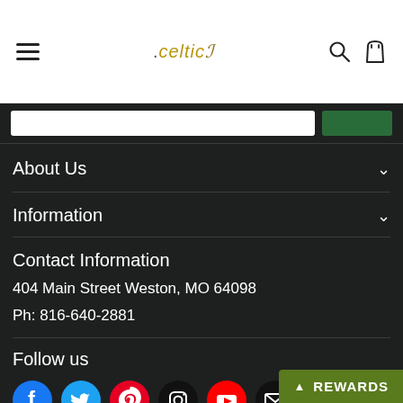.celtic logo with hamburger menu, search icon, and bag icon
About Us
Information
Contact Information
404 Main Street Weston, MO 64098
Ph: 816-640-2881
Follow us
[Figure (illustration): Social media icons: Facebook (blue), Twitter (blue), Pinterest (red), Instagram (black), YouTube (red), Email (black)]